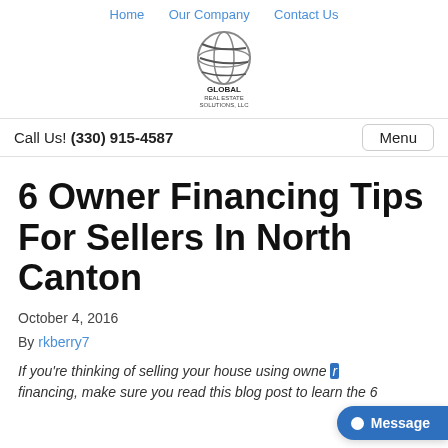Home   Our Company   Contact Us
[Figure (logo): Global Real Estate Solutions, LLC logo — globe graphic above text 'GLOBAL REAL ESTATE SOLUTIONS, LLC']
Call Us! (330) 915-4587
Menu
6 Owner Financing Tips For Sellers In North Canton
October 4, 2016
By rkberry7
If you're thinking of selling your house using owner financing, make sure you read this blog post to learn the 6